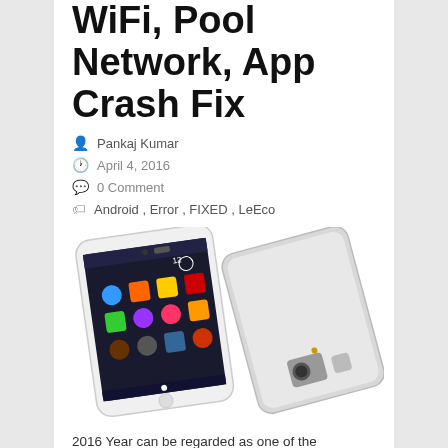WiFi, Pool Network, App Crash Fix
Pankaj Kumar
April 4, 2016
0 Comment
Android, Error, FIXED, LeEco
[Figure (photo): Two LeEco smartphones shown from front and back angles against a white background]
2016 Year can be regarded as one of the